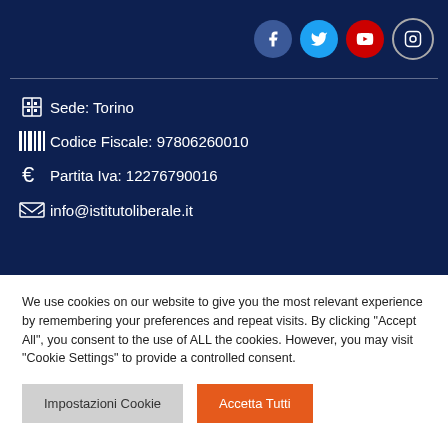[Figure (other): Social media icons: Facebook (dark blue circle), Twitter (light blue circle), YouTube (red circle), Instagram (white circle with border)]
Sede: Torino
Codice Fiscale: 97806260010
Partita Iva: 12276790016
info@istitutoliberale.it
We use cookies on our website to give you the most relevant experience by remembering your preferences and repeat visits. By clicking "Accept All", you consent to the use of ALL the cookies. However, you may visit "Cookie Settings" to provide a controlled consent.
Impostazioni Cookie
Accetta Tutti